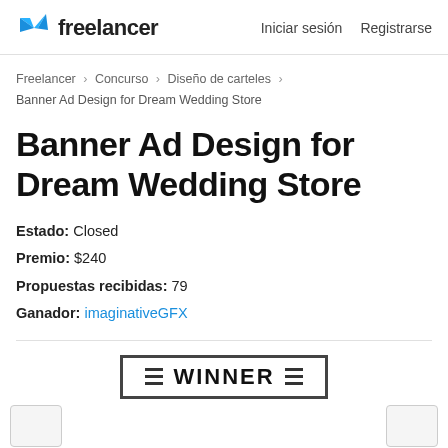Freelancer — Iniciar sesión   Registrarse
Freelancer › Concurso › Diseño de carteles › Banner Ad Design for Dream Wedding Store
Banner Ad Design for Dream Wedding Store
Estado: Closed
Premio: $240
Propuestas recibidas: 79
Ganador: imaginativeGFX
[Figure (other): WINNER badge/stamp graphic with decorative lines on each side]